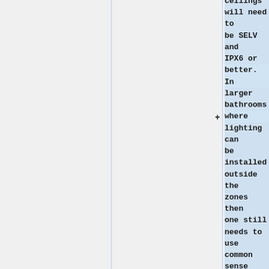ceilings will need to be SELV and IPX6 or better. In larger bathrooms where lighting can be installed outside the zones then one still needs to use common sense in the selection of fittings. Although conventional mains lamp fittings